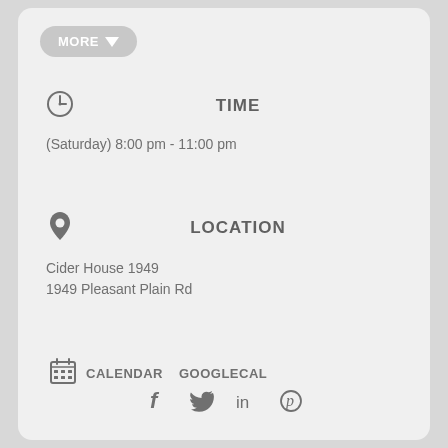[Figure (other): MORE dropdown button]
TIME
(Saturday) 8:00 pm - 11:00 pm
LOCATION
Cider House 1949
1949 Pleasant Plain Rd
CALENDAR   GOOGLECAL
[Figure (other): Social media icons: Facebook, Twitter, LinkedIn, Pinterest]